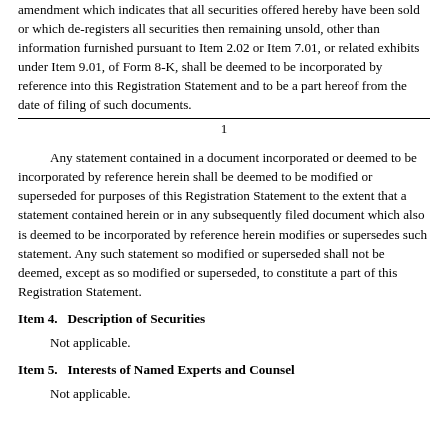amendment which indicates that all securities offered hereby have been sold or which de-registers all securities then remaining unsold, other than information furnished pursuant to Item 2.02 or Item 7.01, or related exhibits under Item 9.01, of Form 8-K, shall be deemed to be incorporated by reference into this Registration Statement and to be a part hereof from the date of filing of such documents.
1
Any statement contained in a document incorporated or deemed to be incorporated by reference herein shall be deemed to be modified or superseded for purposes of this Registration Statement to the extent that a statement contained herein or in any subsequently filed document which also is deemed to be incorporated by reference herein modifies or supersedes such statement. Any such statement so modified or superseded shall not be deemed, except as so modified or superseded, to constitute a part of this Registration Statement.
Item 4.  Description of Securities
Not applicable.
Item 5.  Interests of Named Experts and Counsel
Not applicable.